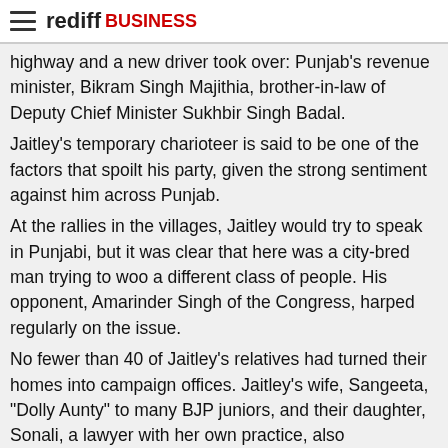rediff BUSINESS
highway and a new driver took over: Punjab's revenue minister, Bikram Singh Majithia, brother-in-law of Deputy Chief Minister Sukhbir Singh Badal. Jaitley's temporary charioteer is said to be one of the factors that spoilt his party, given the strong sentiment against him across Punjab. At the rallies in the villages, Jaitley would try to speak in Punjabi, but it was clear that here was a city-bred man trying to woo a different class of people. His opponent, Amarinder Singh of the Congress, harped regularly on the issue. No fewer than 40 of Jaitley's relatives had turned their homes into campaign offices. Jaitley's wife, Sangeeta, "Dolly Aunty" to many BJP juniors, and their daughter, Sonali, a lawyer with her own practice, also campaigned for Jaitley. Recently, the mother and daughter went back to Amritsar to feed orphans on Sonali's birthday. Their son, Rohan, has just completed masters in law from Cornell. The gossip is that had he won from Amritsar, Jaitley would have become the deputy prime minister. But this